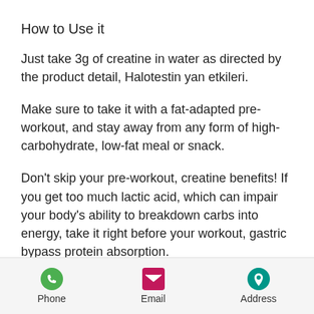How to Use it
Just take 3g of creatine in water as directed by the product detail, Halotestin yan etkileri.
Make sure to take it with a fat-adapted pre-workout, and stay away from any form of high-carbohydrate, low-fat meal or snack.
Don't skip your pre-workout, creatine benefits! If you get too much lactic acid, which can impair your body's ability to breakdown carbs into energy, take it right before your workout, gastric bypass protein absorption.
Do you train three days per week, side effects of steroids cream? Then you'll want to
Phone  Email  Address